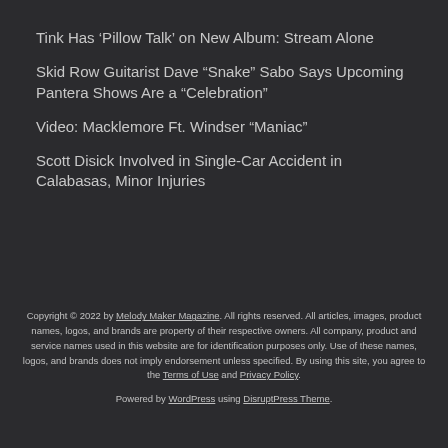Tink Has ‘Pillow Talk’ on New Album: Stream Alone
Skid Row Guitarist Dave “Snake” Sabo Says Upcoming Pantera Shows Are a “Celebration”
Video: Macklemore Ft. Windser “Maniac”
Scott Disick Involved in Single-Car Accident in Calabasas, Minor Injuries
Copyright © 2022 by Melody Maker Magazine. All rights reserved. All articles, images, product names, logos, and brands are property of their respective owners. All company, product and service names used in this website are for identification purposes only. Use of these names, logos, and brands does not imply endorsement unless specified. By using this site, you agree to the Terms of Use and Privacy Policy. Powered by WordPress using DisruptPress Theme.